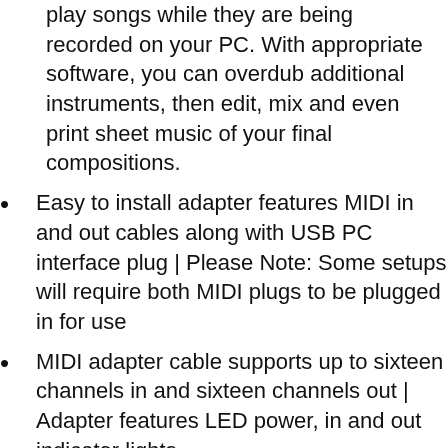play songs while they are being recorded on your PC. With appropriate software, you can overdub additional instruments, then edit, mix and even print sheet music of your final compositions.
Easy to install adapter features MIDI in and out cables along with USB PC interface plug | Please Note: Some setups will require both MIDI plugs to be plugged in for use
MIDI adapter cable supports up to sixteen channels in and sixteen channels out | Adapter features LED power, in and out indicator lights
Wide Compatibility. Work with Windows XP/Vista/7/8.1/10 and Mac OS. Cable length: 2.0m (6ft).